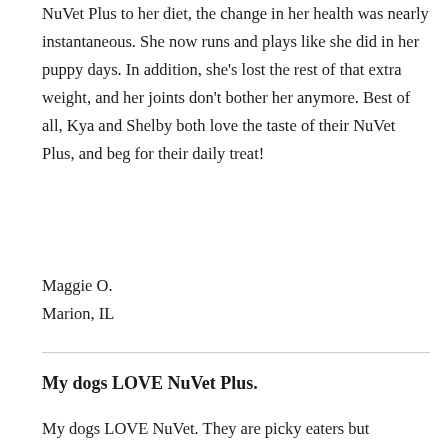NuVet Plus to her diet, the change in her health was nearly instantaneous. She now runs and plays like she did in her puppy days. In addition, she's lost the rest of that extra weight, and her joints don't bother her anymore. Best of all, Kya and Shelby both love the taste of their NuVet Plus, and beg for their daily treat!
Maggie O.
Marion, IL
My dogs LOVE NuVet Plus.
My dogs LOVE NuVet. They are picky eaters but